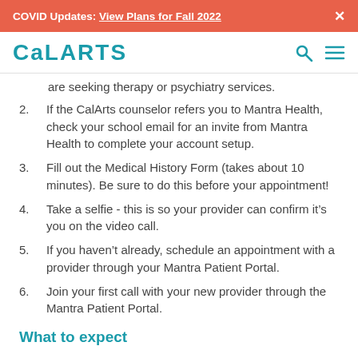COVID Updates: View Plans for Fall 2022  ×
[Figure (logo): CalArts logo with search and menu icons]
are seeking therapy or psychiatry services.
2. If the CalArts counselor refers you to Mantra Health, check your school email for an invite from Mantra Health to complete your account setup.
3. Fill out the Medical History Form (takes about 10 minutes). Be sure to do this before your appointment!
4. Take a selfie - this is so your provider can confirm it's you on the video call.
5. If you haven't already, schedule an appointment with a provider through your Mantra Patient Portal.
6. Join your first call with your new provider through the Mantra Patient Portal.
What to expect